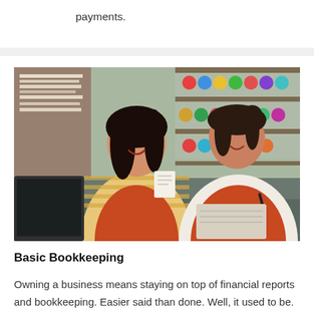payments.
[Figure (photo): Two women wearing orange aprons in a craft/retail shop. One woman in a yellow striped shirt holds a receipt while the other writes notes, surrounded by shelves of colorful craft supplies.]
Basic Bookkeeping
Owning a business means staying on top of financial reports and bookkeeping. Easier said than done. Well, it used to be. This Coach